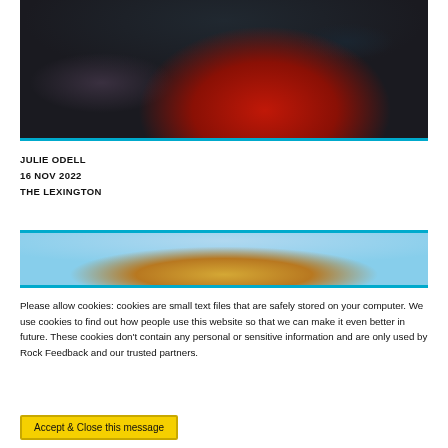[Figure (photo): Person in a red dress sitting on a rocky/muddy shoreline with tires, moody dark tones]
JULIE ODELL
16 NOV 2022
THE LEXINGTON
[Figure (photo): Close-up of a person with windblown blonde hair against a blue sky]
Please allow cookies: cookies are small text files that are safely stored on your computer. We use cookies to find out how people use this website so that we can make it even better in future. These cookies don't contain any personal or sensitive information and are only used by Rock Feedback and our trusted partners.
Accept & Close this message